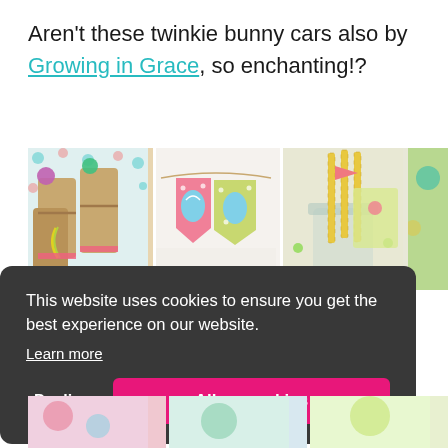Aren't these twinkie bunny cars also by Growing in Grace, so enchanting!?
[Figure (photo): Three side-by-side photos: left shows colorful wrapped craft rolls with pom-poms and feathers on polka-dot paper; center shows pastel Easter-themed bunting/banner with egg designs; right shows gold-striped paper straws in a glass jar with flag decorations.]
[Figure (screenshot): Cookie consent banner overlay: dark rounded rectangle with white text 'This website uses cookies to ensure you get the best experience on our website.' and 'Learn more' link, plus 'Decline' text button and pink 'Allow cookies' button.]